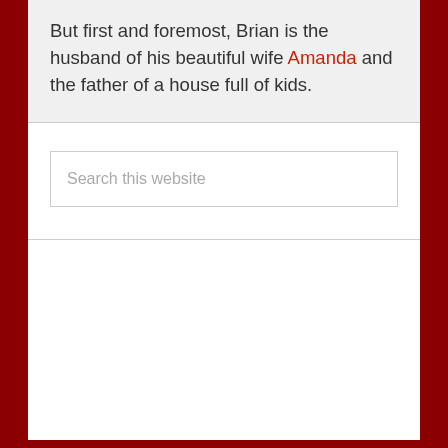But first and foremost, Brian is the husband of his beautiful wife Amanda and the father of a house full of kids.
Search this website